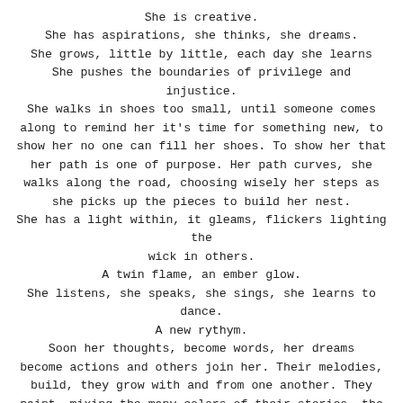She is creative.
She has aspirations, she thinks, she dreams.
She grows, little by little, each day she learns
She pushes the boundaries of privilege and injustice.
She walks in shoes too small, until someone comes
along to remind her it's time for something new, to
show her no one can fill her shoes. To show her that
her path is one of purpose. Her path curves, she
walks along the road, choosing wisely her steps as
she picks up the pieces to build her nest.
She has a light within, it gleams, flickers lighting the
wick in others.
A twin flame, an ember glow.
She listens, she speaks, she sings, she learns to
dance.
A new rythym.
Soon her thoughts, become words, her dreams
become actions and others join her. Their melodies,
build, they grow with and from one another. They
paint, mixing the many colors of their stories, the